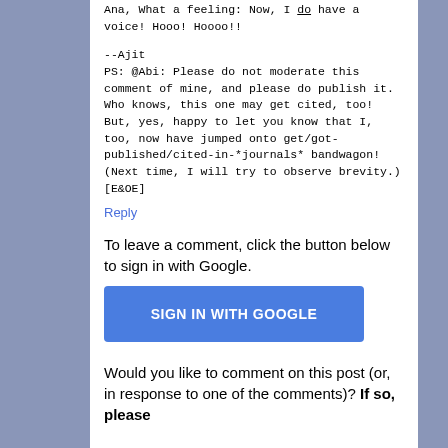Ana, What a feeling: Now, I __do__ have a voice! Hooo! Hoooo!!
--Ajit
PS: @Abi: Please do not moderate this comment of mine, and please do publish it. Who knows, this one may get cited, too! But, yes, happy to let you know that I, too, now have jumped onto get/got-published/cited-in-*journals* bandwagon! (Next time, I will try to observe brevity.)
[E&OE]
Reply
To leave a comment, click the button below to sign in with Google.
SIGN IN WITH GOOGLE
Would you like to comment on this post (or, in response to one of the comments)? If so, please